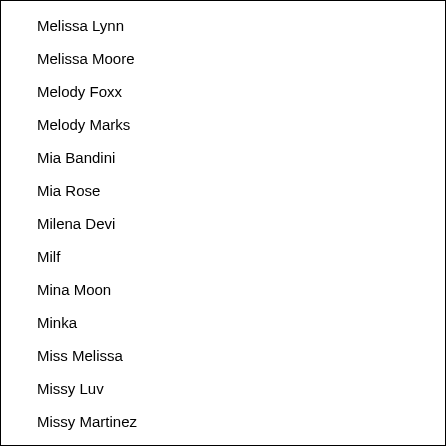Melissa Lynn
Melissa Moore
Melody Foxx
Melody Marks
Mia Bandini
Mia Rose
Milena Devi
Milf
Mina Moon
Minka
Miss Melissa
Missy Luv
Missy Martinez
Missy Robins
Mixed